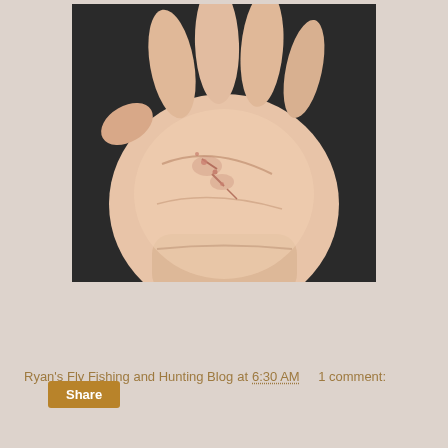[Figure (photo): Close-up photograph of a human palm showing the inside of a hand with visible cuts, scratches, and small wounds/blisters on the skin, likely from fly fishing line or hooks. The hand is held up against a dark background.]
Ryan's Fly Fishing and Hunting Blog at 6:30 AM    1 comment:
Share